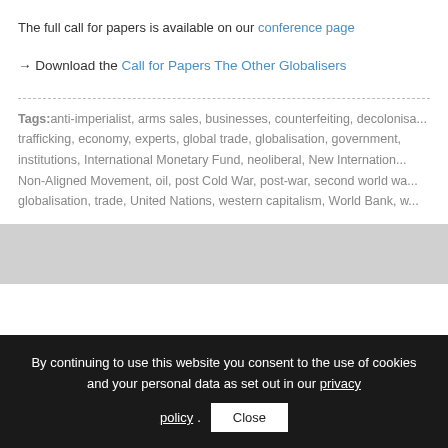The full call for papers is available on our conference page
→ Download the Call for Papers The Other Globalisers
Tags:anti-imperialist, arms sales, businesses, counterfeiting, decolonisa... trafficking, economy, experts, global trade, globalisation, government, institutions, International Monetary Fund, neoliberal, New Internation... Non-Aligned Movement, oil, post Cold War, post-war, second world wa... globalisation, trade, United Nations, western capitalism, World Bank, w...
By continuing to use this website you consent to the use of cookies and your personal data as set out in our privacy policy.